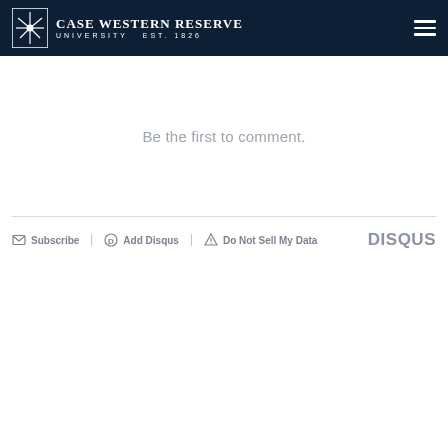[Figure (logo): Case Western Reserve University logo and navigation header on dark navy background]
Be the first to comment.
[Figure (infographic): Disqus comment widget footer bar with Subscribe, Add Disqus, Do Not Sell My Data links and DISQUS logo]